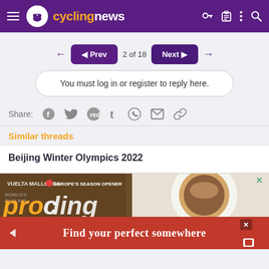cyclingnews
◄ Prev   2 of 18   Next ►
You must log in or register to reply here.
Share:
Similar threads
Beijing Winter Olympics 2022
[Figure (screenshot): Advertisement banner for Pro Cycling magazine showing Vuelta Mallorca Europe's Season Opener text and a coffee cup image]
[Figure (screenshot): Red advertisement banner with text 'Find your perfect somewhere']